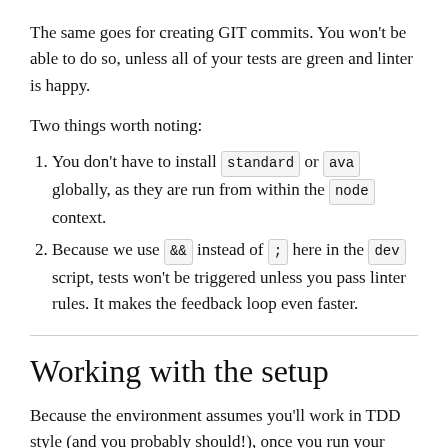The same goes for creating GIT commits. You won't be able to do so, unless all of your tests are green and linter is happy.
Two things worth noting:
You don't have to install standard or ava globally, as they are run from within the node context.
Because we use && instead of ; here in the dev script, tests won't be triggered unless you pass linter rules. It makes the feedback loop even faster.
Working with the setup
Because the environment assumes you'll work in TDD style (and you probably should!), once you run your dev script, you can create tests and they will be added to the test suite, without any need for restarting a watcher or